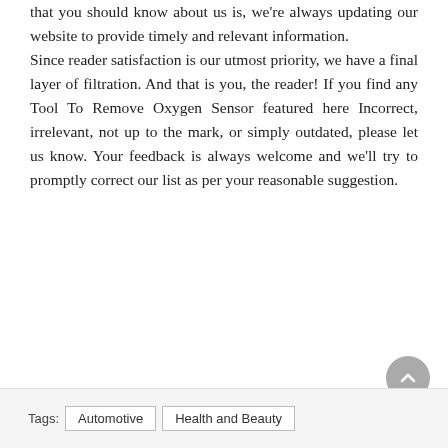that you should know about us is, we're always updating our website to provide timely and relevant information. Since reader satisfaction is our utmost priority, we have a final layer of filtration. And that is you, the reader! If you find any Tool To Remove Oxygen Sensor featured here Incorrect, irrelevant, not up to the mark, or simply outdated, please let us know. Your feedback is always welcome and we'll try to promptly correct our list as per your reasonable suggestion.
Tags: Automotive | Health and Beauty